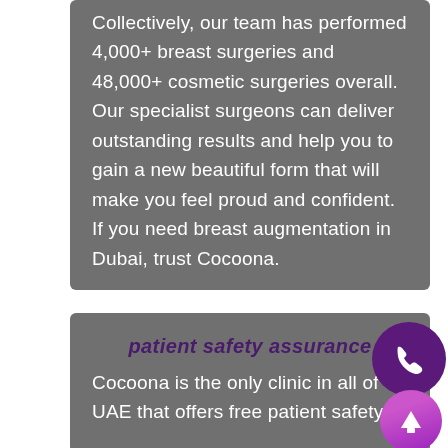Collectively, our team has performed 4,000+ breast surgeries and 48,000+ cosmetic surgeries overall.  Our specialist surgeons can deliver outstanding results and help you to gain a new beautiful form that will make you feel proud and confident. If you need breast augmentation in Dubai, trust Cocoona.
patient safety assurance
Cocoona is the only clinic in all of UAE that offers free patient safety
[Figure (illustration): Purple circular phone button icon and a purple/pink circular up-arrow button icon stacked vertically on the right side of the page]